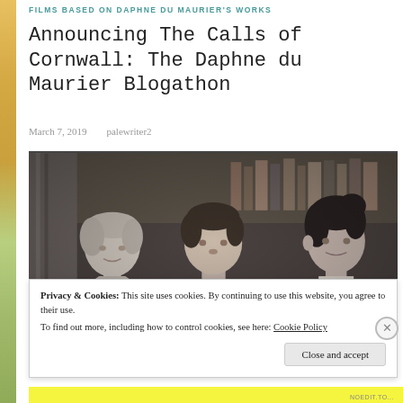FILMS BASED ON DAPHNE DU MAURIER'S WORKS
Announcing The Calls of Cornwall: The Daphne du Maurier Blogathon
March 7, 2019   palewriter2
[Figure (photo): Black and white film still showing three actors: a young woman on the left, a man in a tuxedo in the center, and a woman in dark clothing on the right, appearing to be from a classic Hollywood film.]
Privacy & Cookies: This site uses cookies. By continuing to use this website, you agree to their use.
To find out more, including how to control cookies, see here: Cookie Policy
Close and accept